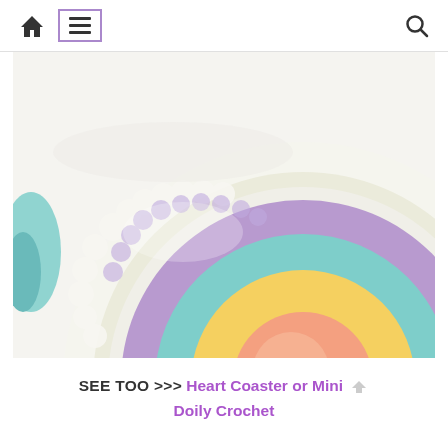Navigation bar with home icon, menu icon (bordered), and search icon
[Figure (photo): Close-up photograph of a crocheted circular coaster/doily with concentric rings of color: pink/salmon center, yellow ring, teal/mint ring, lavender/purple ring, and white scalloped border edge. The background is white. A partial teal crochet piece is visible on the left edge.]
SEE TOO >>> Heart Coaster or Mini Doily Crochet